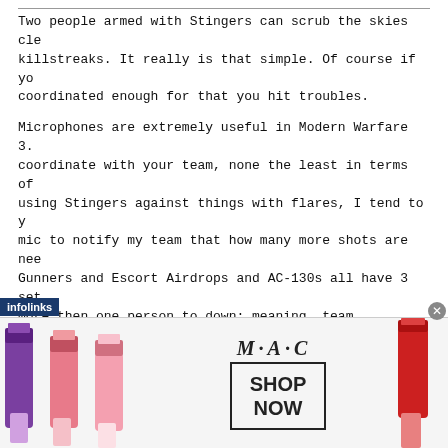Two people armed with Stingers can scrub the skies cle killstreaks. It really is that simple. Of course if yo coordinated enough for that you hit troubles.
Microphones are extremely useful in Modern Warfare 3. coordinate with your team, none the least in terms of using Stingers against things with flares, I tend to y mic to notify my team that how many more shots are nee Gunners and Escort Airdrops and AC-130s all have 3 set more then one person to down; meaning, team coordinati
{M} Mythbusters
There are some common killstreak-related myths. I may if you would like to be helpful, you can help me and t them =)
Myth 1: An Assault Drone can be destroyed by a simple Status: CONFIRMED - As long as the EMP is a direct hit drone without any trouble. ruining their 10-ki
[Figure (advertisement): MAC cosmetics advertisement with lipsticks and SHOP NOW button, with infolinks overlay badge]